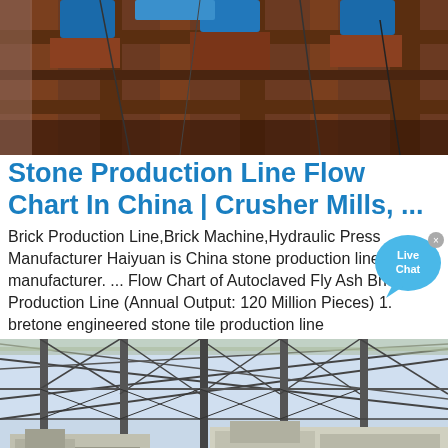[Figure (photo): Industrial stone crusher mill machinery with dark reddish-brown metal frame and blue motors/components on top, photographed from below against a building.]
Stone Production Line Flow Chart In China | Crusher Mills, ...
Brick Production Line,Brick Machine,Hydraulic Press Manufacturer Haiyuan is China stone production line manufacturer. ... Flow Chart of Autoclaved Fly Ash Brick Production Line (Annual Output: 120 Million Pieces) 1. bretone engineered stone tile production line
[Figure (photo): Large industrial stone production facility with a steel truss roof structure and crusher equipment visible underneath, photographed from a low angle showing open-air factory.]